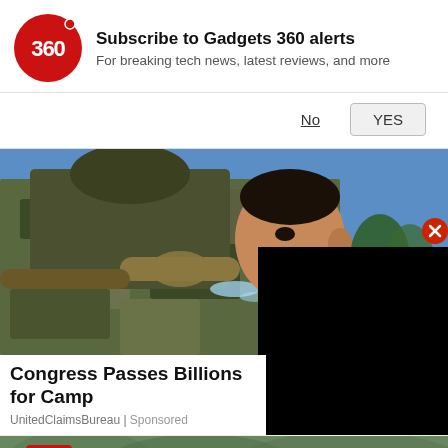[Figure (logo): Gadgets 360 red circle logo with '360' text in white]
Subscribe to Gadgets 360 alerts
For breaking tech news, latest reviews, and more
No   YES
[Figure (photo): Military soldier in camouflage uniform drinking water from a hose near a waterfront with equipment in background]
Congress Passes Billions for Camp
UnitedClaimsBureau | Sponsored
[Figure (photo): Bottom strip showing partial image with N logo (red square with white N) on left side]